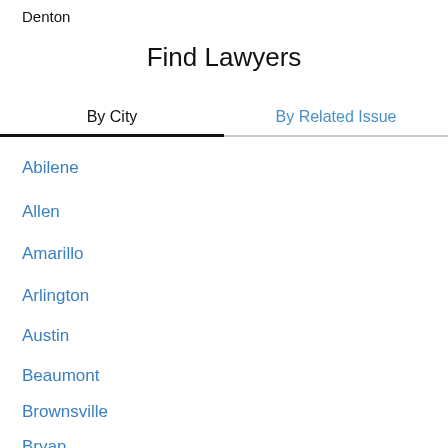Denton
Find Lawyers
By City | By Related Issue
Abilene
Allen
Amarillo
Arlington
Austin
Beaumont
Brownsville
Bryan
Burleson
Carrollton (partial)